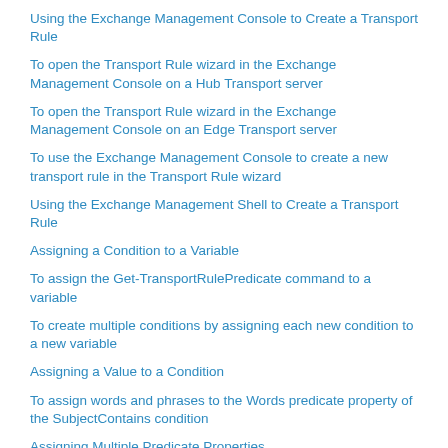Using the Exchange Management Console to Create a Transport Rule
To open the Transport Rule wizard in the Exchange Management Console on a Hub Transport server
To open the Transport Rule wizard in the Exchange Management Console on an Edge Transport server
To use the Exchange Management Console to create a new transport rule in the Transport Rule wizard
Using the Exchange Management Shell to Create a Transport Rule
Assigning a Condition to a Variable
To assign the Get-TransportRulePredicate command to a variable
To create multiple conditions by assigning each new condition to a new variable
Assigning a Value to a Condition
To assign words and phrases to the Words predicate property of the SubjectContains condition
Assigning Multiple Predicate Properties
To examine the Message-ID message header field for the value contoso.com
Assigning a Transport Rule Action